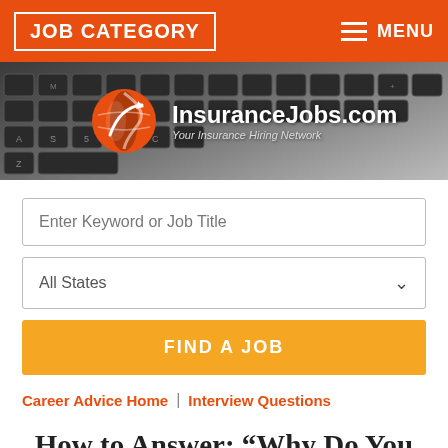JOB CATEGORY | MENU
[Figure (logo): InsuranceJobs.com logo with keyboard background — orange globe icon and white text 'InsuranceJobs.com / Your Insurance Hiring Network']
Enter Keyword or Job Title
All States
FIND A JOB
Career Advice Home | Interview Questions
How to Answer: “Why Do You Want This Job?”